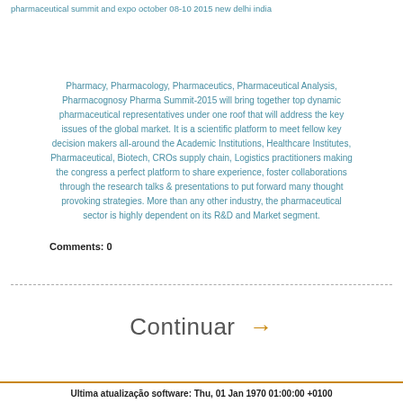pharmaceutical summit and expo october 08-10 2015 new delhi india
Pharmacy, Pharmacology, Pharmaceutics, Pharmaceutical Analysis, Pharmacognosy Pharma Summit-2015 will bring together top dynamic pharmaceutical representatives under one roof that will address the key issues of the global market. It is a scientific platform to meet fellow key decision makers all-around the Academic Institutions, Healthcare Institutes, Pharmaceutical, Biotech, CROs supply chain, Logistics practitioners making the congress a perfect platform to share experience, foster collaborations through the research talks & presentations to put forward many thought provoking strategies. More than any other industry, the pharmaceutical sector is highly dependent on its R&D and Market segment.
Comments: 0
Continuar →
Ultima atualização software: Thu, 01 Jan 1970 01:00:00 +0100